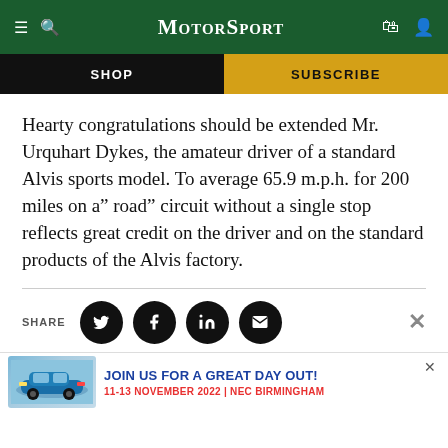Motor Sport
SHOP
SUBSCRIBE
Hearty congratulations should be extended Mr. Urquhart Dykes, the amateur driver of a standard Alvis sports model. To average 65.9 m.p.h. for 200 miles on a” road” circuit without a single stop reflects great credit on the driver and on the standard products of the Alvis factory.
SHARE
[Figure (screenshot): Advertisement banner: blue Porsche 911 car image on left, text reading 'JOIN US FOR A GREAT DAY OUT! 11-13 NOVEMBER 2022 | NEC BIRMINGHAM']